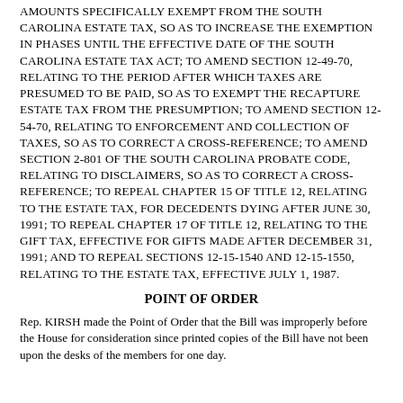AMOUNTS SPECIFICALLY EXEMPT FROM THE SOUTH CAROLINA ESTATE TAX, SO AS TO INCREASE THE EXEMPTION IN PHASES UNTIL THE EFFECTIVE DATE OF THE SOUTH CAROLINA ESTATE TAX ACT; TO AMEND SECTION 12-49-70, RELATING TO THE PERIOD AFTER WHICH TAXES ARE PRESUMED TO BE PAID, SO AS TO EXEMPT THE RECAPTURE ESTATE TAX FROM THE PRESUMPTION; TO AMEND SECTION 12-54-70, RELATING TO ENFORCEMENT AND COLLECTION OF TAXES, SO AS TO CORRECT A CROSS-REFERENCE; TO AMEND SECTION 2-801 OF THE SOUTH CAROLINA PROBATE CODE, RELATING TO DISCLAIMERS, SO AS TO CORRECT A CROSS-REFERENCE; TO REPEAL CHAPTER 15 OF TITLE 12, RELATING TO THE ESTATE TAX, FOR DECEDENTS DYING AFTER JUNE 30, 1991; TO REPEAL CHAPTER 17 OF TITLE 12, RELATING TO THE GIFT TAX, EFFECTIVE FOR GIFTS MADE AFTER DECEMBER 31, 1991; AND TO REPEAL SECTIONS 12-15-1540 AND 12-15-1550, RELATING TO THE ESTATE TAX, EFFECTIVE JULY 1, 1987.
POINT OF ORDER
Rep. KIRSH made the Point of Order that the Bill was improperly before the House for consideration since printed copies of the Bill have not been upon the desks of the members for one day.